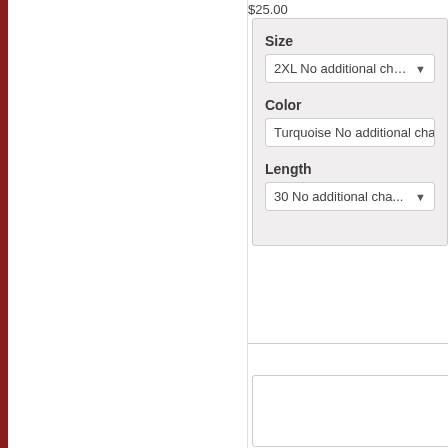$25.00
Size
2XL No additional cha...
Color
Turquoise No additional cha...
Length
30 No additional cha...